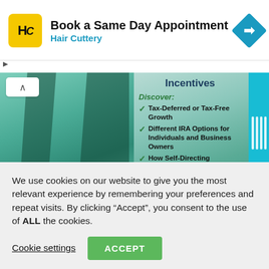[Figure (other): Hair Cuttery ad banner with logo, 'Book a Same Day Appointment' headline, and navigation icon]
[Figure (infographic): IRA Incentives promotional banner with teal background showing: Discover: Tax-Deferred or Tax-Free Growth, Different IRA Options for Individuals and Business Owners, How Self-Directing Investments Give Investors More Options and More Control]
We use cookies on our website to give you the most relevant experience by remembering your preferences and repeat visits. By clicking “Accept”, you consent to the use of ALL the cookies.
Cookie settings
ACCEPT